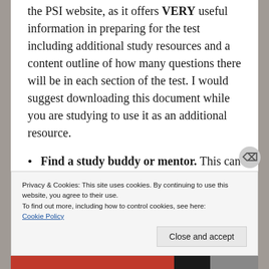the PSI website, as it offers VERY useful information in preparing for the test including additional study resources and a content outline of how many questions there will be in each section of the test. I would suggest downloading this document while you are studying to use it as an additional resource.
Find a study buddy or mentor. This can be someone that is currently studying to pass the exam or who has recently taken
Privacy & Cookies: This site uses cookies. By continuing to use this website, you agree to their use.
To find out more, including how to control cookies, see here:
Cookie Policy